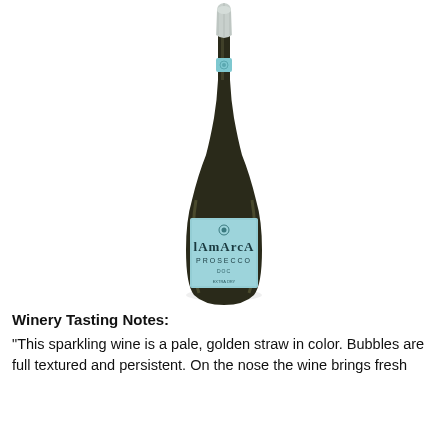[Figure (photo): A bottle of La Marca Prosecco sparkling wine with a light blue label and foil cap, photographed against a white background.]
Winery Tasting Notes:
“This sparkling wine is a pale, golden straw in color. Bubbles are full textured and persistent. On the nose the wine brings fresh aromas and hints of honeysuckle. On the palate fresh fruit notes of